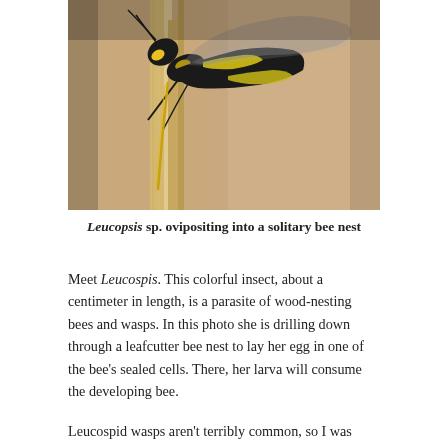[Figure (photo): Close-up photograph of a Leucopsis sp. wasp with black and yellow markings, ovipositing (drilling its ovipositor) into a wood/reed solitary bee nest. The wasp is seen from above, head facing left, with its curved yellow ovipositor inserted into the wood-colored substrate.]
Leucopsis sp. ovipositing into a solitary bee nest
Meet Leucospis. This colorful insect, about a centimeter in length, is a parasite of wood-nesting bees and wasps. In this photo she is drilling down through a leafcutter bee nest to lay her egg in one of the bee's sealed cells. There, her larva will consume the developing bee.
Leucospid wasps aren't terribly common, so I was rather